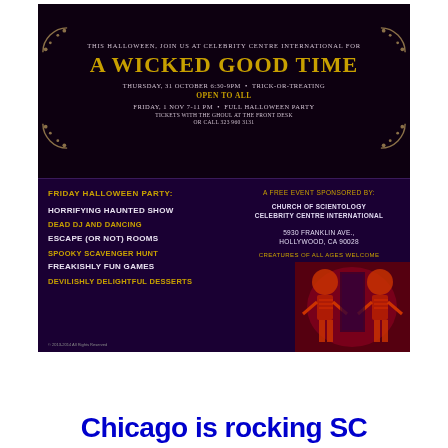[Figure (infographic): Halloween event flyer for Celebrity Centre International on dark purple/black background. Top section features chandelier decoration, event title 'A Wicked Good Time', date/time info for Thursday Oct 31 and Friday Nov 1. Bottom left lists party activities. Bottom right shows sponsor info, address, and skeleton photo.]
Chicago is rocking SC